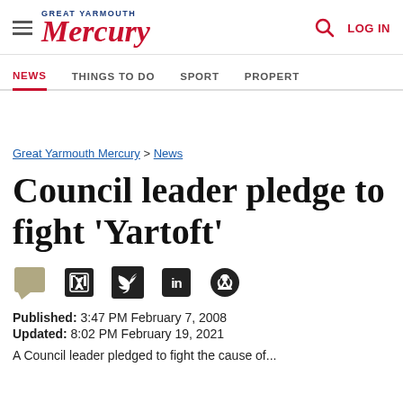Great Yarmouth Mercury — LOG IN
NEWS  THINGS TO DO  SPORT  PROPERTY
Great Yarmouth Mercury > News
Council leader pledge to fight 'Yartoft'
Published: 3:47 PM February 7, 2008
Updated: 8:02 PM February 19, 2021
A Council leader pledged to fight the cause of...